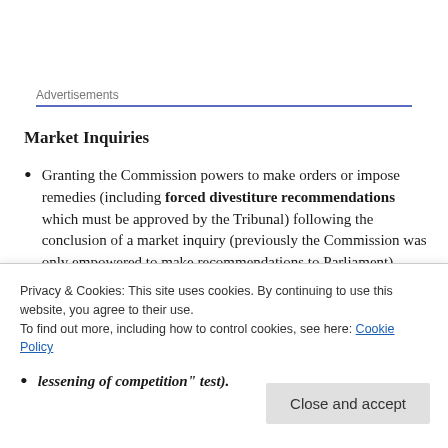Advertisements
Market Inquiries
Granting the Commission powers to make orders or impose remedies (including forced divestiture recommendations which must be approved by the Tribunal) following the conclusion of a market inquiry (previously the Commission was only empowered to make recommendations to Parliament).
The introduction of a new competition test for
Privacy & Cookies: This site uses cookies. By continuing to use this website, you agree to their use. To find out more, including how to control cookies, see here: Cookie Policy
lessening of competition" test).